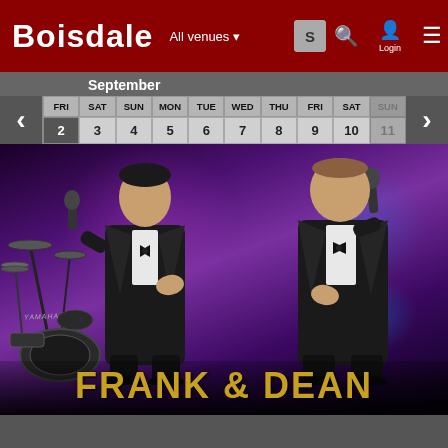BOISDALE — All venues — Login
September
| FRI | SAT | SUN | MON | TUE | WED | THU | FRI | SAT | SUN |
| --- | --- | --- | --- | --- | --- | --- | --- | --- | --- |
| 2 | 3 | 4 | 5 | 6 | 7 | 8 | 9 | 10 | 11 |
[Figure (photo): Two male performers in black tuxedos holding microphones on stage with purple stage lighting and drum kit in background. Gold text overlay reads FRANK & DEAN at the bottom.]
FRANK & DEAN